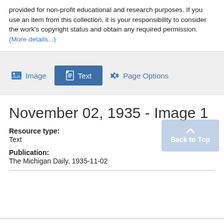provided for non-profit educational and research purposes. If you use an item from this collection, it is your responsibility to consider the work's copyright status and obtain any required permission. (More details...)
[Figure (screenshot): Toolbar with Image, Text, and Page Options buttons. Text button is highlighted in blue.]
November 02, 1935 - Image 1
Resource type:
Text
Publication:
The Michigan Daily, 1935-11-02